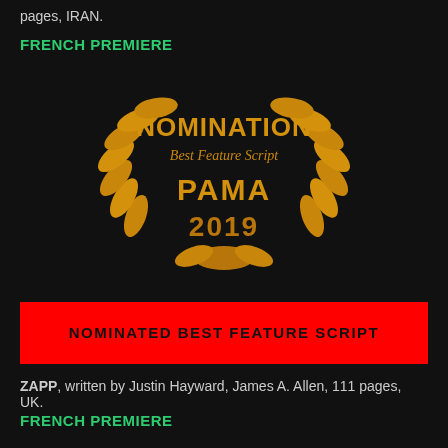pages, IRAN.
FRENCH PREMIERE
[Figure (illustration): NOMINATION Best Feature Script PAMA 2019 award badge with golden laurel wreath on dark background]
NOMINATED BEST FEATURE SCRIPT
ZAPP, written by Justin Hayward, James A. Allen, 111 pages, UK.
FRENCH PREMIERE